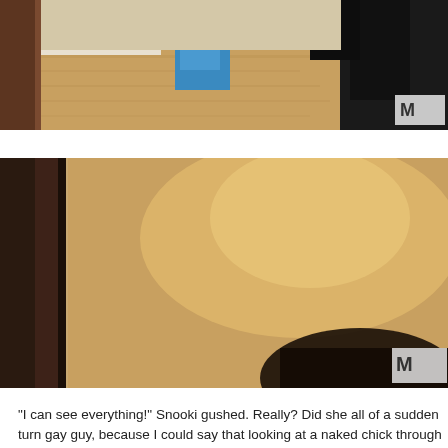[Figure (screenshot): Top partial screenshot of a room interior showing wooden floor, clothing items including blue and black garments near a door, with MTV logo watermark in bottom right corner.]
[Figure (screenshot): Screenshot of a blurry/frosted room interior, dark door frame on left side, beige/tan blurred wall in center and right, dark shape at bottom right, MTV logo watermark in bottom right corner.]
"I can see everything!" Snooki gushed. Really? Did she all of a sudden turn gay guy, because I could say that looking at a naked chick through frosted g